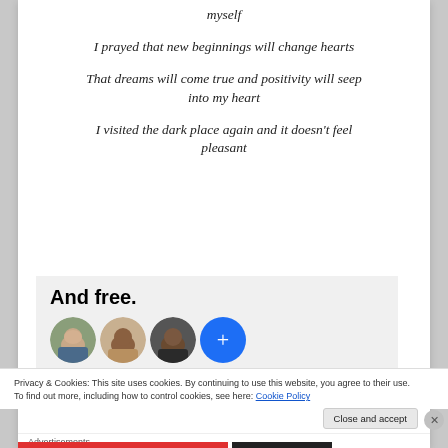myself
I prayed that new beginnings will change hearts
That dreams will come true and positivity will seep into my heart
I visited the dark place again and it doesn't feel pleasant
[Figure (infographic): Subscription ad box with bold text 'And free.' and three circular avatar photos plus a blue plus button]
Privacy & Cookies: This site uses cookies. By continuing to use this website, you agree to their use.
To find out more, including how to control cookies, see here: Cookie Policy
Close and accept
Advertisements